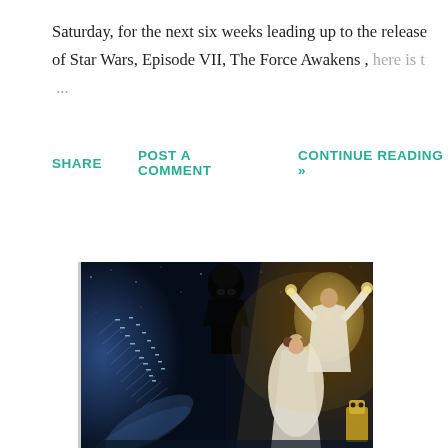Saturday, for the next six weeks leading up to the release of Star Wars, Episode VII, The Force Awakens , here is t ...
SHARE   POST A COMMENT   CONTINUE READING »
[Figure (illustration): Star Wars movie poster artwork showing characters in white robes, Darth Vader silhouette in background, X-wing fighters flying in formation on the left side against a dark starry background]